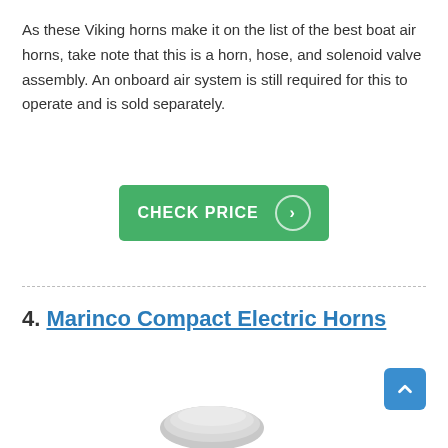As these Viking horns make it on the list of the best boat air horns, take note that this is a horn, hose, and solenoid valve assembly. An onboard air system is still required for this to operate and is sold separately.
[Figure (other): Green CHECK PRICE button with a circular arrow icon on the right]
4. Marinco Compact Electric Horns
[Figure (other): Partially visible product image at bottom of page, appears to be a gray/silver horn]